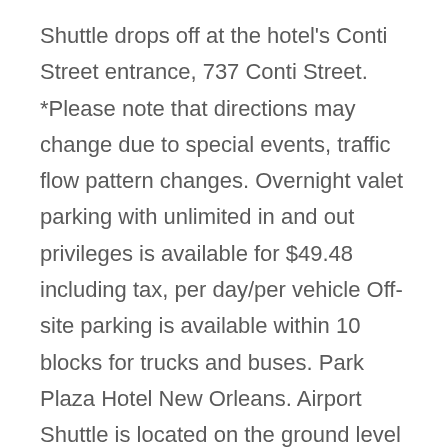Shuttle drops off at the hotel's Conti Street entrance, 737 Conti Street. *Please note that directions may change due to special events, traffic flow pattern changes. Overnight valet parking with unlimited in and out privileges is available for $49.48 including tax, per day/per vehicle Off-site parking is available within 10 blocks for trucks and buses. Park Plaza Hotel New Orleans. Airport Shuttle is located on the ground level (baggage claim) area of Louis Armstrong International Airport for transportation to Hotel Monteleone. We checked the day before our check in with staff and was told we would have parking. Click here to view Current Rates. We look